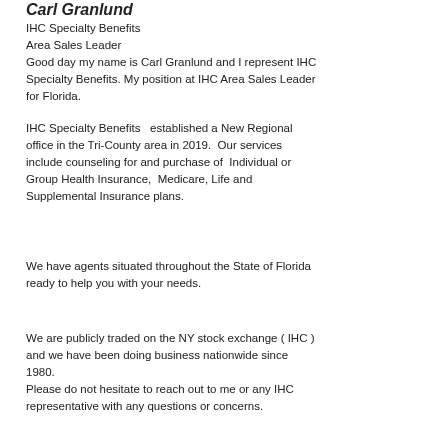Carl Granlund
IHC Specialty Benefits
Area Sales Leader
Good day my name is Carl Granlund and I represent IHC Specialty Benefits. My position at IHC Area Sales Leader for Florida.
IHC Specialty Benefits  established a New Regional office in the Tri-County area in 2019.  Our services include counseling for and purchase of  Individual or Group Health Insurance,  Medicare, Life and Supplemental Insurance plans.
We have agents situated throughout the State of Florida ready to help you with your needs.
We are publicly traded on the NY stock exchange ( IHC ) and we have been doing business nationwide since 1980.
Please do not hesitate to reach out to me or any IHC representative with any questions or concerns.